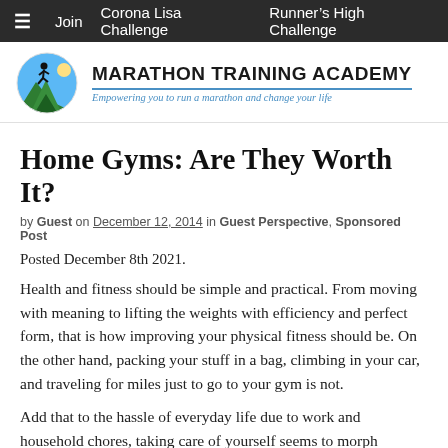≡  Join  Corona Lisa Challenge  Runner's High Challenge
[Figure (logo): Marathon Training Academy logo: circular icon with runner silhouette against blue/green landscape, beside bold text 'MARATHON TRAINING ACADEMY' with italic blue subtitle 'Empowering you to run a marathon and change your life']
Home Gyms: Are They Worth It?
by Guest on December 12, 2014 in Guest Perspective, Sponsored Post
Posted December 8th 2021.
Health and fitness should be simple and practical. From moving with meaning to lifting the weights with efficiency and perfect form, that is how improving your physical fitness should be. On the other hand, packing your stuff in a bag, climbing in your car, and traveling for miles just to go to your gym is not.
Add that to the hassle of everyday life due to work and household chores, taking care of yourself seems to morph